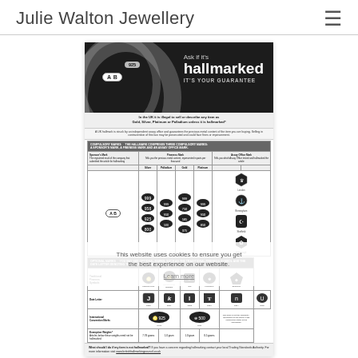Julie Walton Jewellery
[Figure (infographic): UK hallmarking guide infographic showing a silver ring with hallmarks, text 'Ask if it's hallmarked IT'S YOUR GUARANTEE', a table of compulsory and optional hallmark marks including Sponsor's Mark, Fineness Mark, and Assay Office Mark for Silver, Palladium, Gold and Platinum, plus exemption weights and a footer note about contacting Trading Standards.]
This website uses cookies to ensure you get the best experience on our website.
Learn more